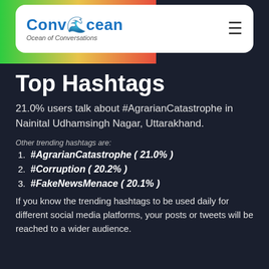[Figure (logo): ConvOcean logo with tagline 'Ocean of Conversations' inside a white rounded card with hamburger menu icon]
Top Hashtags
21.0% users talk about #AgrarianCatastrophe in Nainital Udhamsingh Nagar, Uttarakhand.
Other trending hashtags are:
1. #AgrarianCatastrophe ( 21.0% )
2. #Corruption ( 20.2% )
3. #FakeNewsMenace ( 20.1% )
If you know the trending hashtags to be used daily for different social media platforms, your posts or tweets will be reached to a wider audience.